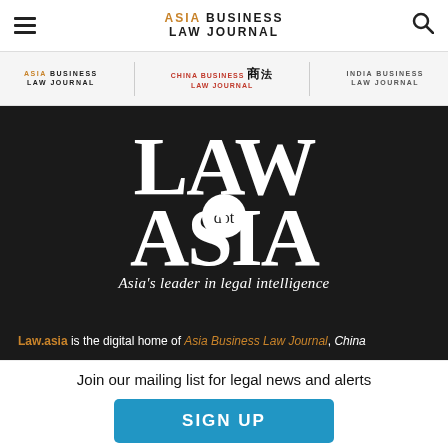ASIA BUSINESS LAW JOURNAL
[Figure (logo): Navigation bar with three publication logos: Asia Business Law Journal, China Business Law Journal (with Chinese characters), India Business Law Journal]
[Figure (logo): LAW.ASIA large white serif logo on dark background with 'dot' circle between W and A, tagline: Asia's leader in legal intelligence]
Law.asia is the digital home of Asia Business Law Journal, China
Join our mailing list for legal news and alerts
SIGN UP